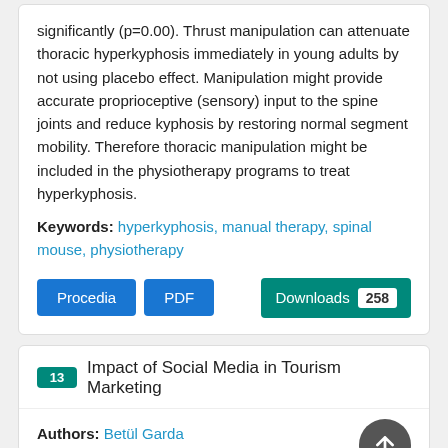significantly (p=0.00). Thrust manipulation can attenuate thoracic hyperkyphosis immediately in young adults by not using placebo effect. Manipulation might provide accurate proprioceptive (sensory) input to the spine joints and reduce kyphosis by restoring normal segment mobility. Therefore thoracic manipulation might be included in the physiotherapy programs to treat hyperkyphosis.
Keywords: hyperkyphosis, manual therapy, spinal mouse, physiotherapy
Procedia  PDF  Downloads 258
13  Impact of Social Media in Tourism Marketing
Authors: Betül Garda